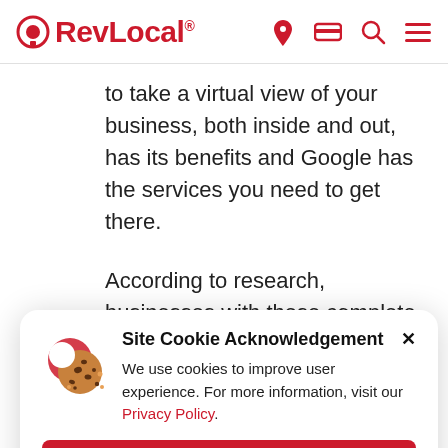RevLocal [navigation icons]
to take a virtual view of your business, both inside and out, has its benefits and Google has the services you need to get there.
According to research, businesses with these complete search listings are 29
[Figure (screenshot): Cookie icon illustration: a half-eaten cookie with chocolate chips, with a red circle behind it]
Site Cookie Acknowledgement
We use cookies to improve user experience. For more information, visit our Privacy Policy.
ACCEPT